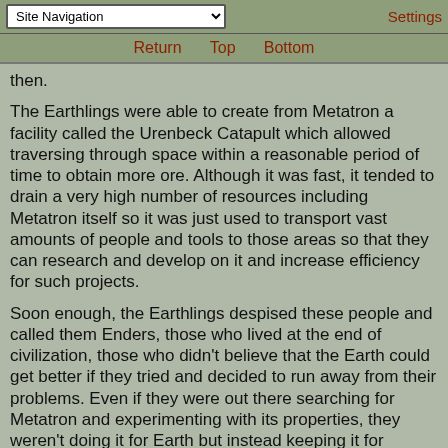Site Navigation | Return | Top | Bottom | Settings
then.
The Earthlings were able to create from Metatron a facility called the Urenbeck Catapult which allowed traversing through space within a reasonable period of time to obtain more ore. Although it was fast, it tended to drain a very high number of resources including Metatron itself so it was just used to transport vast amounts of people and tools to those areas so that they can research and develop on it and increase efficiency for such projects.
Soon enough, the Earthlings despised these people and called them Enders, those who lived at the end of civilization, those who didn't believe that the Earth could get better if they tried and decided to run away from their problems. Even if they were out there searching for Metatron and experimenting with its properties, they weren't doing it for Earth but instead keeping it for themselves.